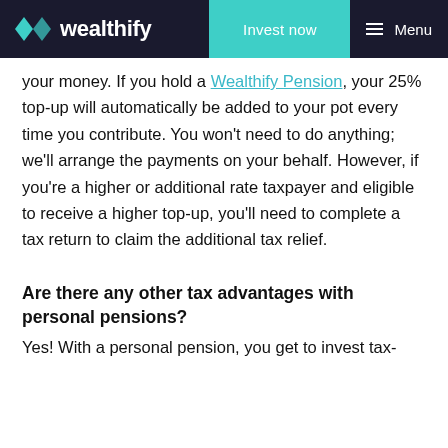wealthify | Invest now | Menu
your money. If you hold a Wealthify Pension, your 25% top-up will automatically be added to your pot every time you contribute. You won't need to do anything; we'll arrange the payments on your behalf. However, if you're a higher or additional rate taxpayer and eligible to receive a higher top-up, you'll need to complete a tax return to claim the additional tax relief.
Are there any other tax advantages with personal pensions?
Yes! With a personal pension, you get to invest tax-